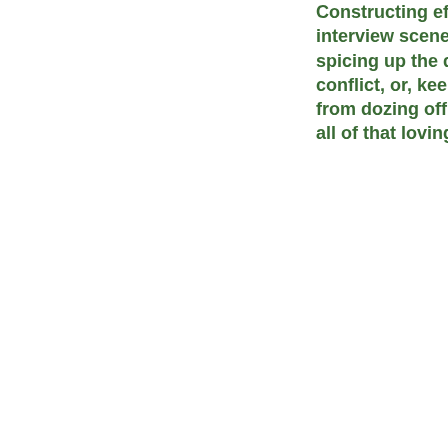Constructing effective interview scenes, part VII: spicing up the dialogue with conflict, or, keeping the reader from dozing off in the midst of all of that loving harmony →
[Figure (other): Search box with text input field labeled 'S' and a brown search button with magnifying glass icon]
Anne's Bio
ARCHIVES